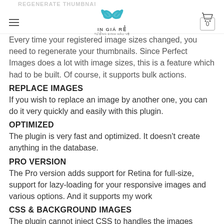REGENERATE THUMBNAILS — IN GIÁ RẺ
Every time your registered image sizes changed, you need to regenerate your thumbnails. Since Perfect Images does a lot with image sizes, this is a feature which had to be built. Of course, it supports bulk actions.
REPLACE IMAGES
If you wish to replace an image by another one, you can do it very quickly and easily with this plugin.
OPTIMIZED
The plugin is very fast and optimized. It doesn't create anything in the database.
PRO VERSION
The Pro version adds support for Retina for full-size, support for lazy-loading for your responsive images and various options. And it supports my work
CSS & BACKGROUND IMAGES
The plugin cannot inject CSS to handles the images added through CSS, that's both too dangerous and potentially very